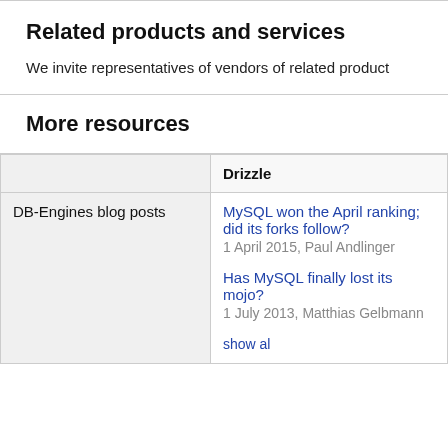Related products and services
We invite representatives of vendors of related product
More resources
|  | Drizzle |
| --- | --- |
| DB-Engines blog posts | MySQL won the April ranking; did its forks follow?
1 April 2015, Paul Andlinger

Has MySQL finally lost its mojo?
1 July 2013, Matthias Gelbmann

show al |